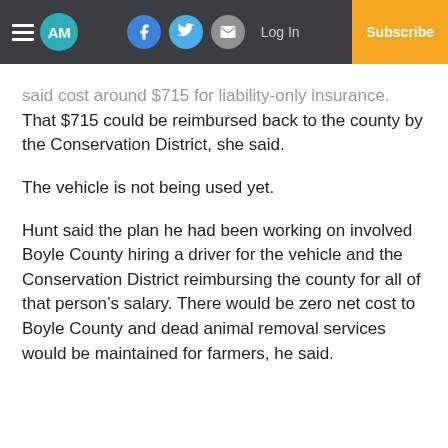AM — navigation bar with hamburger menu, logo, social icons (Facebook, Twitter, Email), Log In, Subscribe
said cost around $715 for liability-only insurance. That $715 could be reimbursed back to the county by the Conservation District, she said.
The vehicle is not being used yet.
Hunt said the plan he had been working on involved Boyle County hiring a driver for the vehicle and the Conservation District reimbursing the county for all of that person's salary. There would be zero net cost to Boyle County and dead animal removal services would be maintained for farmers, he said.